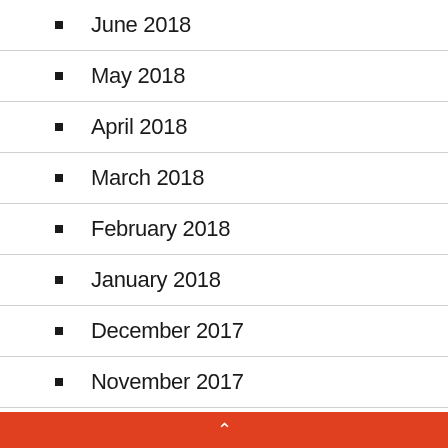June 2018
May 2018
April 2018
March 2018
February 2018
January 2018
December 2017
November 2017
October 2017
^